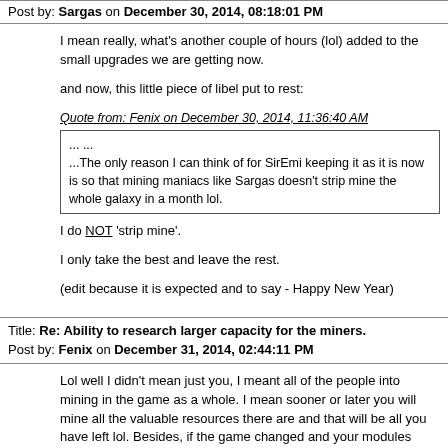Post by: Sargas on December 30, 2014, 08:18:01 PM
I mean really, what's another couple of hours (lol) added to the small upgrades we are getting now.
and now, this little piece of libel put to rest:
Quote from: Fenix on December 30, 2014, 11:36:40 AM
... ...
...The only reason I can think of for SirEmi keeping it as it is now is so that mining maniacs like Sargas doesn't strip mine the whole galaxy in a month lol.
I do NOT 'strip mine'.
I only take the best and leave the rest.
(edit because it is expected and to say - Happy New Year)
Title: Re: Ability to research larger capacity for the miners.
Post by: Fenix on December 31, 2014, 02:44:11 PM
Lol well I didn't mean just you, I meant all of the people into mining in the game as a whole. I mean sooner or later you will mine all the valuable resources there are and that will be all you have left lol. Besides, if the game changed and your modules unloaded when full and you have modules that could mine like 400 m3 of material an hour would you really pass up all those planets with smaller deposits of like 300-700- m3 of